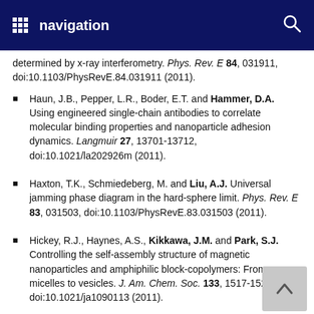navigation
determined by x-ray interferometry. Phys. Rev. E 84, 031911, doi:10.1103/PhysRevE.84.031911 (2011).
Haun, J.B., Pepper, L.R., Boder, E.T. and Hammer, D.A. Using engineered single-chain antibodies to correlate molecular binding properties and nanoparticle adhesion dynamics. Langmuir 27, 13701-13712, doi:10.1021/la202926m (2011).
Haxton, T.K., Schmiedeberg, M. and Liu, A.J. Universal jamming phase diagram in the hard-sphere limit. Phys. Rev. E 83, 031503, doi:10.1103/PhysRevE.83.031503 (2011).
Hickey, R.J., Haynes, A.S., Kikkawa, J.M. and Park, S.J. Controlling the self-assembly structure of magnetic nanoparticles and amphiphilic block-copolymers: From micelles to vesicles. J. Am. Chem. Soc. 133, 1517-1525, doi:10.1021/ja1090113 (2011).
Hiesinger, W., Perez-Aguilar, J.M., Atluri, P., Marotta, N.A.,